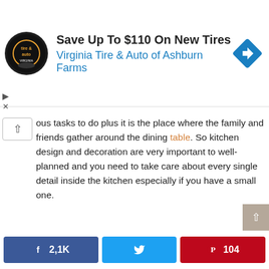[Figure (other): Advertisement banner for Virginia Tire & Auto of Ashburn Farms with logo, text 'Save Up To $110 On New Tires' and a blue navigation arrow icon]
ous tasks to do plus it is the place where the family and friends gather around the dining table. So kitchen design and decoration are very important to well-planned and you need to take care about every single detail inside the kitchen especially if you have a small one.
In this article, there are few tips to consider while buying and designing furniture for a small kitchen. You need to check your kitchen area where you are going to work with. Keep in mind to balance between the necessary furniture and kitchen purposes like cooking and gathering with family around the kitchen table so you need to keep a free space inside the
[Figure (other): Social share bar with Facebook (2,1K), Twitter, Pinterest (104) buttons and total 2,2K SHARES counter]